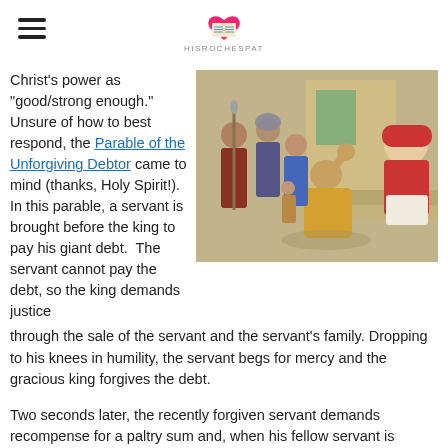HISROCHESPAT [logo]
Christ's power as "good/strong enough." Unsure of how to best respond, the Parable of the Unforgiving Debtor came to mind (thanks, Holy Spirit!).  In this parable, a servant is brought before the king to pay his giant debt.  The servant cannot pay the debt, so the king demands justice through the sale of the servant and the servant's family. Dropping to his knees in humility, the servant begs for mercy and the gracious king forgives the debt.
[Figure (illustration): Biblical illustration of the Parable of the Unforgiving Servant: a man in yellow robes kneeling and pleading before a king on a throne, with soldiers and family members nearby.]
Two seconds later, the recently forgiven servant demands recompense for a paltry sum and, when his fellow servant is unable to pay, has that man